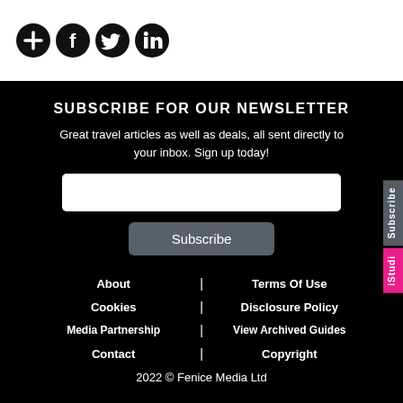[Figure (other): Social media icons: add/share, Facebook, Twitter, LinkedIn — black circular icons on white background]
SUBSCRIBE FOR OUR NEWSLETTER
Great travel articles as well as deals, all sent directly to your inbox. Sign up today!
Subscribe (button)
About | Terms Of Use | Cookies | Disclosure Policy | Media Partnership | View Archived Guides | Contact | Copyright | 2022 © Fenice Media Ltd